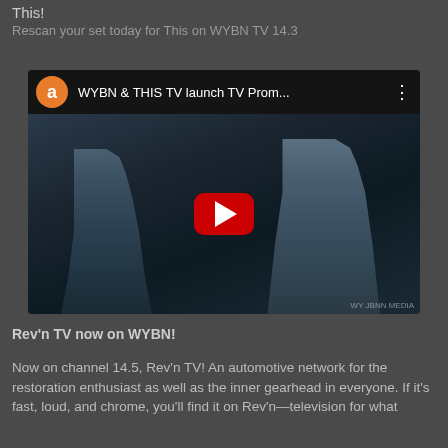This!
Rescan your set today for This on WYBN TV 14.3
[Figure (screenshot): YouTube video thumbnail showing two men in WWII-era German military uniforms (grey-blue), with a YouTube play button overlay. The video bar at the top shows an orange avatar with 'a', the title 'WYBN & THIS TV launch TV Prom...' and a three-dot menu. The thumbnail appears to be from a classic war film.]
Rev'n TV now on WYBN!
Now on channel 14.5, Rev'n TV! An automotive network for the restoration enthusiast as well as the inner gearhead in everyone. If it's fast, loud, and chrome, you'll find it on Rev'n—television for what